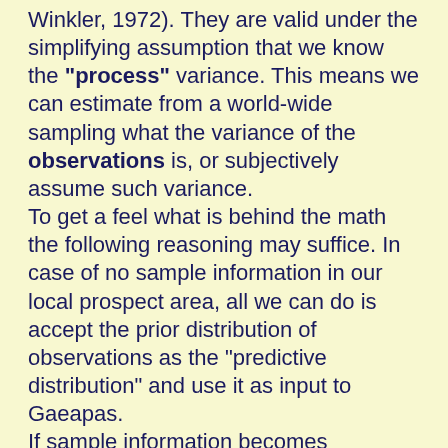Winkler, 1972). They are valid under the simplifying assumption that we know the "process" variance. This means we can estimate from a world-wide sampling what the variance of the observations is, or subjectively assume such variance. To get a feel what is behind the math the following reasoning may suffice. In case of no sample information in our local prospect area, all we can do is accept the prior distribution of observations as the "predictive distribution" and use it as input to Gaeapas. If sample information becomes available it may be that, for instance, a single new measurement "x" will not change our prior estimate when it is equal to the mean of the prior. In that case it has a high likelihood, it "hits" the prior at the highest probability density. On the other hand, if the new observation is quite far away from the prior mean, the